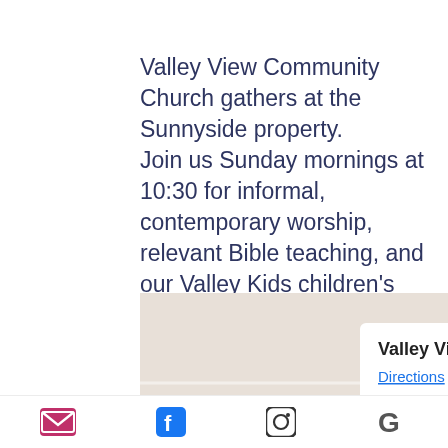Valley View Community Church gathers at the Sunnyside property. Join us Sunday mornings at 10:30 for informal, contemporary worship, relevant Bible teaching, and our Valley Kids children's ministry.
[Figure (screenshot): Google Maps screenshot showing a map marker for Valley View Community Church with a popup info window displaying 'Valley View Community Church' in bold and a 'Directions' link, with decorative pink/mauve diagonal geometric shapes in the upper right corner of the map.]
[Figure (infographic): Icon bar at the bottom showing four social/contact icons: email (envelope), Facebook, Instagram, and Google.]